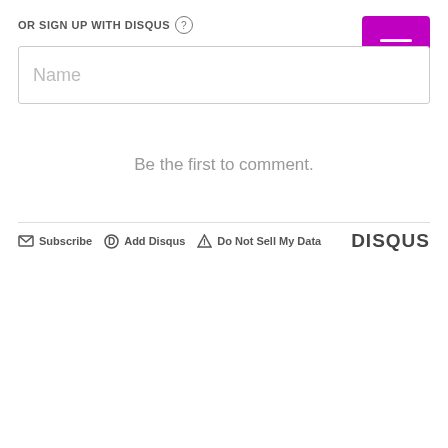OR SIGN UP WITH DISQUS ?
[Figure (screenshot): Disqus comment section UI with Name input field, hamburger menu button in magenta, 'Be the first to comment.' message, and footer with Subscribe, Add Disqus, Do Not Sell My Data links and DISQUS logo]
Be the first to comment.
Subscribe  Add Disqus  Do Not Sell My Data  DISQUS